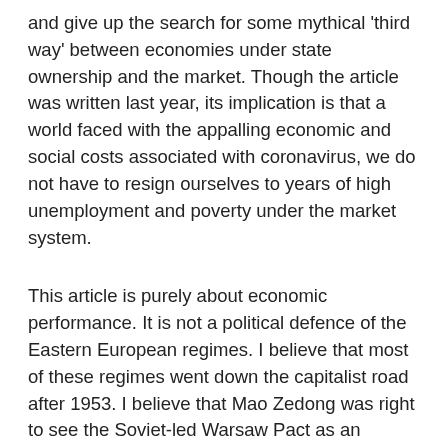and give up the search for some mythical 'third way' between economies under state ownership and the market. Though the article was written last year, its implication is that a world faced with the appalling economic and social costs associated with coronavirus, we do not have to resign ourselves to years of high unemployment and poverty under the market system.
This article is purely about economic performance. It is not a political defence of the Eastern European regimes. I believe that most of these regimes went down the capitalist road after 1953. I believe that Mao Zedong was right to see the Soviet-led Warsaw Pact as an enemy of the genuine socialism that he was trying to promote around the world. It is foolish, however, to pretend that the fate of these regimes has no bearing on the current level of support for socialism. The economies of these countries were state-owned and they retained some elements of state planning to a greater or lesser degree. The incorrect belief that state